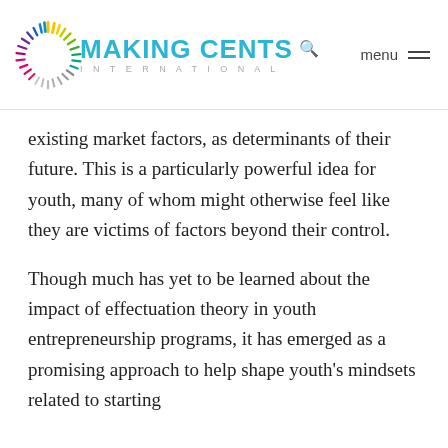MAKING CENTS INTERNATIONAL
existing market factors, as determinants of their future. This is a particularly powerful idea for youth, many of whom might otherwise feel like they are victims of factors beyond their control.
Though much has yet to be learned about the impact of effectuation theory in youth entrepreneurship programs, it has emerged as a promising approach to help shape youth's mindsets related to starting